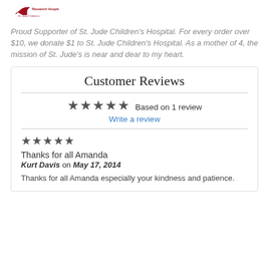[Figure (logo): St. Jude Children's Research Hospital logo — red bird/leaf shape with text]
Proud Supporter of St. Jude Children's Hospital. For every order over $10, we donate $1 to St. Jude Children's Hospital. As a mother of 4, the mission of St. Jude's is near and dear to my heart.
Customer Reviews
★★★★★ Based on 1 review
Write a review
★★★★★
Thanks for all Amanda
Kurt Davis on May 17, 2014
Thanks for all Amanda especially your kindness and patience.